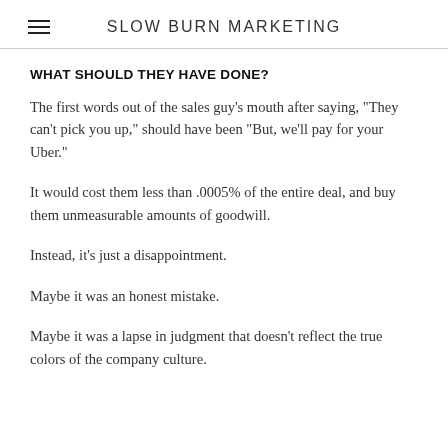SLOW BURN MARKETING
WHAT SHOULD THEY HAVE DONE?
The first words out of the sales guy's mouth after saying, "They can't pick you up," should have been "But, we'll pay for your Uber."
It would cost them less than .0005% of the entire deal, and buy them unmeasurable amounts of goodwill.
Instead, it's just a disappointment.
Maybe it was an honest mistake.
Maybe it was a lapse in judgment that doesn't reflect the true colors of the company culture.